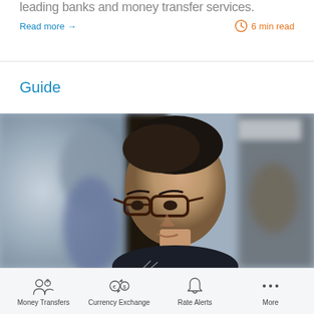leading banks and money transfer services.
Read more →
6 min read
Guide
[Figure (photo): Woman with glasses smiling at camera in an office environment, with blurred colleagues in the background]
Money Transfers  Currency Exchange  Rate Alerts  More